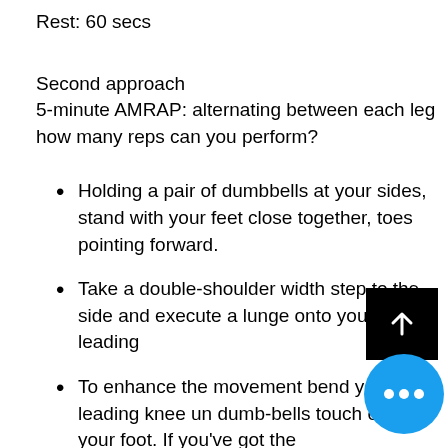Rest: 60 secs
Second approach
5-minute AMRAP: alternating between each leg how many reps can you perform?
Holding a pair of dumbbells at your sides, stand with your feet close together, toes pointing forward.
Take a double-shoulder width step to the side and execute a lunge onto your leading
To enhance the movement bend your leading knee un dumb-bells touch either si your foot. If you've got the